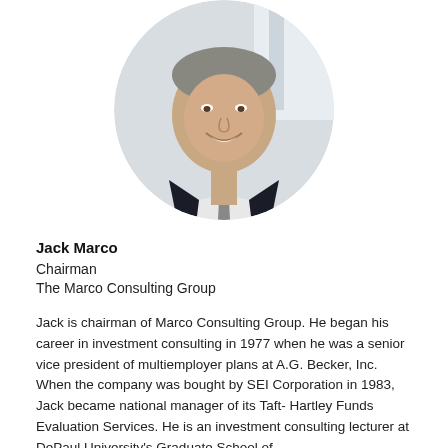[Figure (photo): Circular portrait photo of Jack Marco, a smiling older man in a dark suit and gray tie, photographed in a bright indoor setting.]
Jack Marco
Chairman
The Marco Consulting Group
Jack is chairman of Marco Consulting Group. He began his career in investment consulting in 1977 when he was a senior vice president of multiemployer plans at A.G. Becker, Inc. When the company was bought by SEI Corporation in 1983, Jack became national manager of its Taft- Hartley Funds Evaluation Services. He is an investment consulting lecturer at DePaul University's Graduate School of